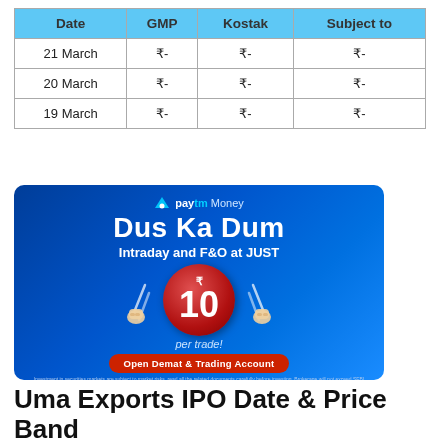| Date | GMP | Kostak | Subject to |
| --- | --- | --- | --- |
| 21 March | ₹- | ₹- | ₹- |
| 20 March | ₹- | ₹- | ₹- |
| 19 March | ₹- | ₹- | ₹- |
[Figure (illustration): Paytm Money advertisement banner promoting 'Dus Ka Dum' – Intraday and F&O at JUST ₹10 per trade! with fist graphics and 'Open Demat & Trading Account' CTA button.]
Uma Exports IPO Date & Price Band